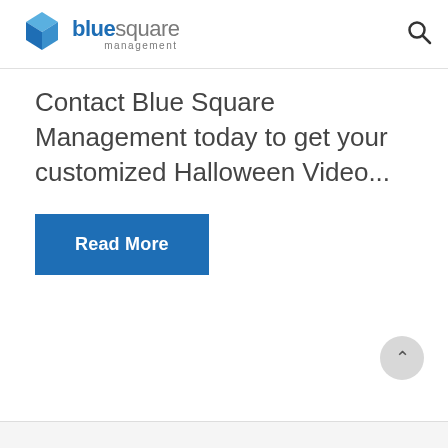Blue Square Management — logo and search icon
Contact Blue Square Management today to get your customized Halloween Video...
Read More